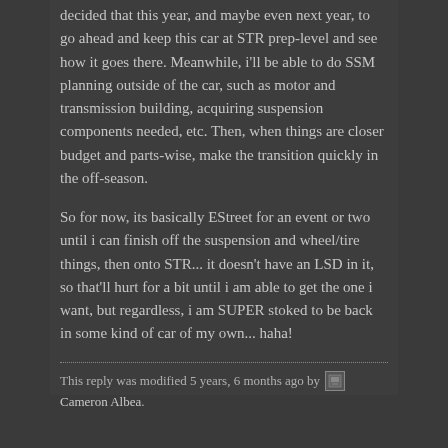decided that this year, and maybe even next year, to go ahead and keep this car at STR prep-level and see how it goes there. Meanwhile, i'll be able to do SSM planning outside of the car, such as motor and transmission building, acquiring suspension components needed, etc. Then, when things are closer budget and parts-wise, make the transition quickly in the off-season.

So for now, its basically EStreet for an event or two until i can finish off the suspension and wheel/tire things, then onto STR... it doesn't have an LSD in it, so that'll hurt for a bit until i am able to get the one i want, but regardless, i am SUPER stoked to be back in some kind of car of my own... haha!
This reply was modified 5 years, 6 months ago by Cameron Albea.